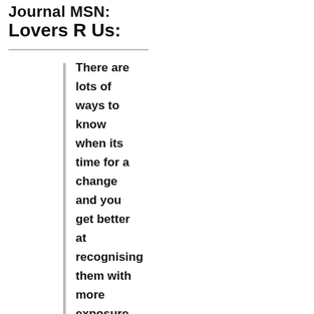Journal MSN: Lovers R Us:
There are lots of ways to know when its time for a change and you get better at recognising them with more exposure to nappies